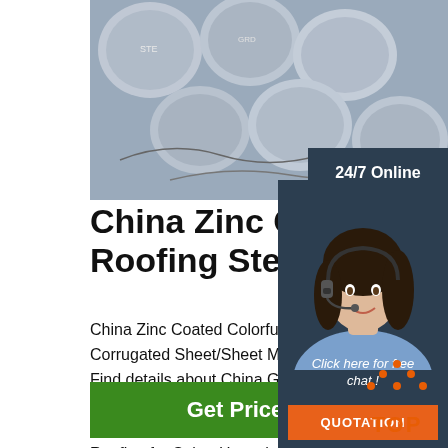[Figure (photo): Photo of steel round bars/rods bundled together, grey metallic color]
China Zinc Coated Colorful Roofing Steel Corrugated Sheet/Sheet Metal Roofing for Sale
China Zinc Coated Colorful Roofing Steel Corrugated Sheet/Sheet Metal Roofing for Sale, Find details about China Galvanized Steel, Steel Sheet for Roof from Zinc Coated Colorful Roofing Steel Corrugated Sheet/Sheet Metal Roofing for Sale - Hangzhou Sukalp Trading Co., Ltd.
[Figure (photo): Customer service agent woman with headset, 24/7 Online badge, Click here for free chat, QUOTATION button]
[Figure (other): TOP badge with orange dots forming a roof shape above the word TOP in orange]
Get Price